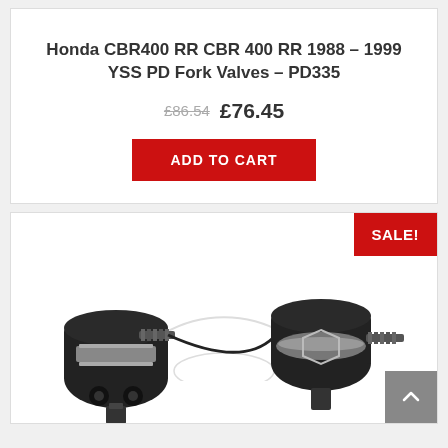Honda CBR400 RR CBR 400 RR 1988 – 1999 YSS PD Fork Valves – PD335
£86.54  £76.45
ADD TO CART
[Figure (photo): Product photo of YSS PD Fork Valves (PD335) — two black cylindrical fork valve components with metallic silver spanner flats, shown against a white background with a faint circular watermark logo. A red SALE! badge appears in the top-right corner. A grey scroll-to-top arrow button is in the bottom-right corner.]